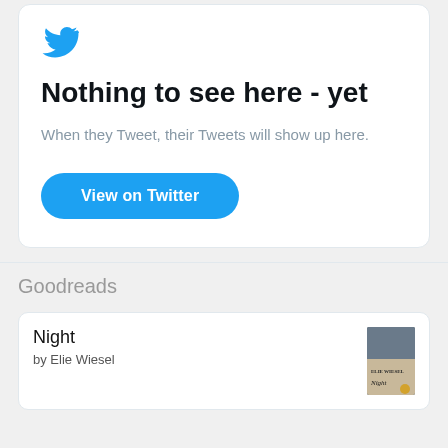[Figure (logo): Twitter bird logo in blue]
Nothing to see here - yet
When they Tweet, their Tweets will show up here.
View on Twitter
Goodreads
Night
by Elie Wiesel
[Figure (photo): Book cover of Night by Elie Wiesel]